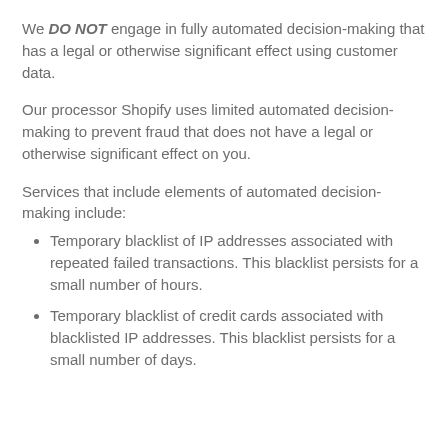We DO NOT engage in fully automated decision-making that has a legal or otherwise significant effect using customer data.
Our processor Shopify uses limited automated decision-making to prevent fraud that does not have a legal or otherwise significant effect on you.
Services that include elements of automated decision-making include:
Temporary blacklist of IP addresses associated with repeated failed transactions. This blacklist persists for a small number of hours.
Temporary blacklist of credit cards associated with blacklisted IP addresses. This blacklist persists for a small number of days.